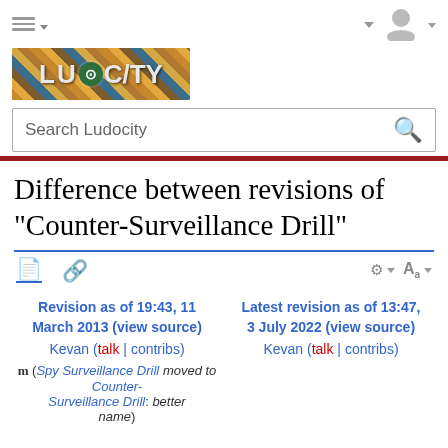[Figure (screenshot): Ludocity wiki website screenshot showing navigation bar with hamburger menu and user icon]
[Figure (logo): Ludocity logo - stylized text on mosaic background]
Search Ludocity
Difference between revisions of "Counter-Surveillance Drill"
Revision as of 19:43, 11 March 2013 (view source) Kevan (talk | contribs) m (Spy Surveillance Drill moved to Counter-Surveillance Drill: better name)
Latest revision as of 13:47, 3 July 2022 (view source) Kevan (talk | contribs)